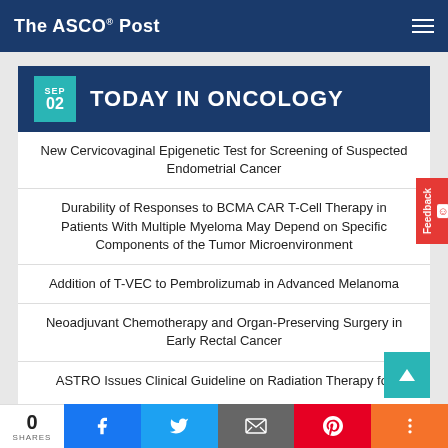The ASCO Post
TODAY IN ONCOLOGY — SEP 02
New Cervicovaginal Epigenetic Test for Screening of Suspected Endometrial Cancer
Durability of Responses to BCMA CAR T-Cell Therapy in Patients With Multiple Myeloma May Depend on Specific Components of the Tumor Microenvironment
Addition of T-VEC to Pembrolizumab in Advanced Melanoma
Neoadjuvant Chemotherapy and Organ-Preserving Surgery in Early Rectal Cancer
ASTRO Issues Clinical Guideline on Radiation Therapy for…
0 SHARES